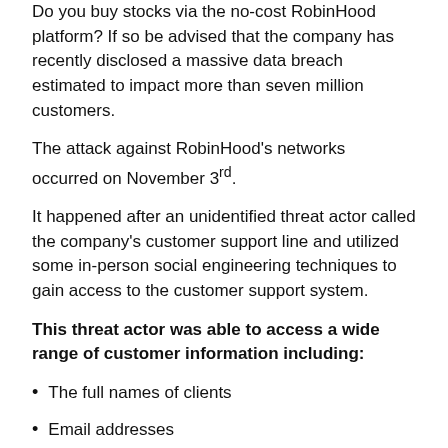Do you buy stocks via the no-cost RobinHood platform? If so be advised that the company has recently disclosed a massive data breach estimated to impact more than seven million customers.
The attack against RobinHood's networks occurred on November 3rd.
It happened after an unidentified threat actor called the company's customer support line and utilized some in-person social engineering techniques to gain access to the customer support system.
This threat actor was able to access a wide range of customer information including:
The full names of clients
Email addresses
Date of birth
And Zip code
Based on the company's disclosure statement the attacker...